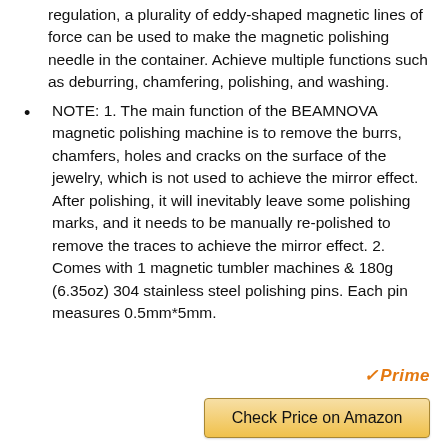regulation, a plurality of eddy-shaped magnetic lines of force can be used to make the magnetic polishing needle in the container. Achieve multiple functions such as deburring, chamfering, polishing, and washing.
NOTE: 1. The main function of the BEAMNOVA magnetic polishing machine is to remove the burrs, chamfers, holes and cracks on the surface of the jewelry, which is not used to achieve the mirror effect. After polishing, it will inevitably leave some polishing marks, and it needs to be manually re-polished to remove the traces to achieve the mirror effect. 2. Comes with 1 magnetic tumbler machines & 180g (6.35oz) 304 stainless steel polishing pins. Each pin measures 0.5mm*5mm.
[Figure (logo): Amazon Prime logo with orange checkmark and italic 'Prime' text in orange]
Check Price on Amazon